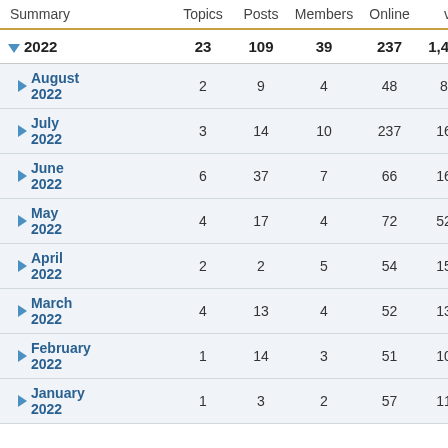| Summary | Topics | Posts | Members | Online | views |
| --- | --- | --- | --- | --- | --- |
| ▼ 2022 | 23 | 109 | 39 | 237 | 1,445,717 |
| ▶ August 2022 | 2 | 9 | 4 | 48 | 80,710 |
| ▶ July 2022 | 3 | 14 | 10 | 237 | 166,922 |
| ▶ June 2022 | 6 | 37 | 7 | 66 | 161,491 |
| ▶ May 2022 | 4 | 17 | 4 | 72 | 527,440 |
| ▶ April 2022 | 2 | 2 | 5 | 54 | 152,135 |
| ▶ March 2022 | 4 | 13 | 4 | 52 | 139,151 |
| ▶ February 2022 | 1 | 14 | 3 | 51 | 100,030 |
| ▶ January 2022 | 1 | 3 | 2 | 57 | 117,838 |